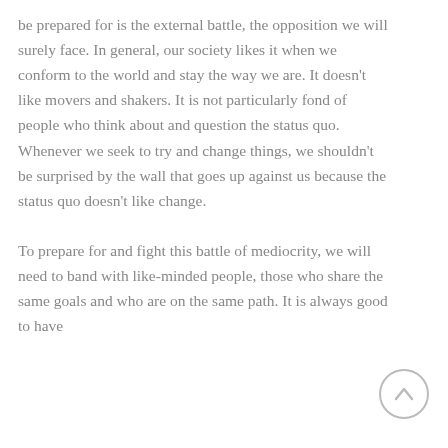be prepared for is the external battle, the opposition we will surely face. In general, our society likes it when we conform to the world and stay the way we are. It doesn't like movers and shakers. It is not particularly fond of people who think about and question the status quo. Whenever we seek to try and change things, we shouldn't be surprised by the wall that goes up against us because the status quo doesn't like change.

To prepare for and fight this battle of mediocrity, we will need to band with like-minded people, those who share the same goals and who are on the same path. It is always good to have